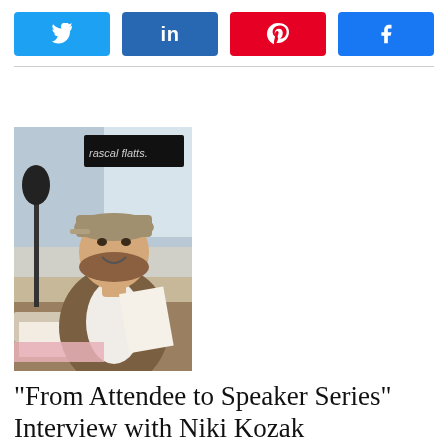[Figure (infographic): Social sharing buttons row: Twitter (light blue), LinkedIn (dark blue), Pinterest (red), Facebook (blue), each with icon and label]
[Figure (photo): Woman wearing a baseball cap sitting at a radio studio desk with microphone, holding papers, smiling at camera. A 'rascal flatts' banner visible in background.]
“From Attendee to Speaker Series” Interview with Niki Kozak